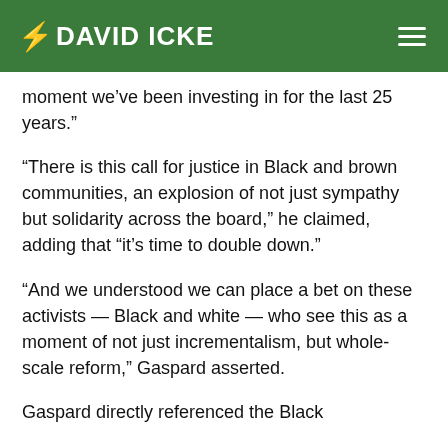DAVID ICKE
moment we’ve been investing in for the last 25 years.”
“There is this call for justice in Black and brown communities, an explosion of not just sympathy but solidarity across the board,” he claimed, adding that “it’s time to double down.”
“And we understood we can place a bet on these activists — Black and white — who see this as a moment of not just incrementalism, but whole-scale reform,” Gaspard asserted.
Gaspard directly referenced the Black